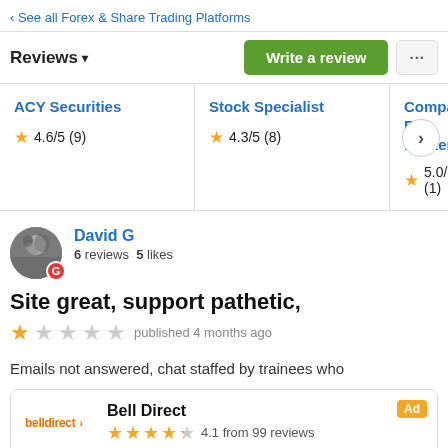‹ See all Forex & Share Trading Platforms
Reviews ▾
Write a review
| Platform | Rating | Reviews |
| --- | --- | --- |
| ACY Securities | 4.6/5 | (9) |
| Stock Specialist | 4.3/5 | (8) |
| Compare Fo... Brokers | 5.0/5 | (1) |
David G
6 reviews 5 likes
Site great, support pathetic,
★ published 4 months ago
Emails not answered, chat staffed by trainees who
Bell Direct — Ad — 4.1 from 99 reviews